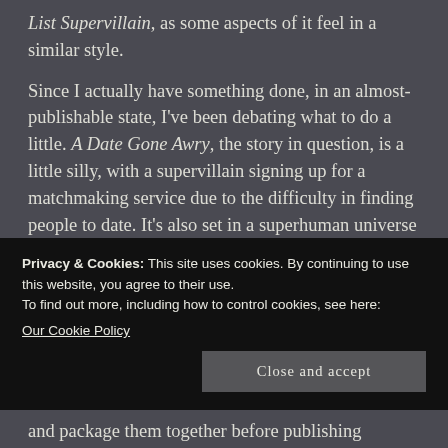List Supervillain, as some aspects of it feel in a similar style.
Since I actually have something done, in an almost-publishable state, I've been debating what to do a little. A Date Gone Awry, the story in question, is a little silly, with a supervillain signing up for a matchmaking service due to the difficulty in finding people to date. It's also set in a superhuman universe I built for a different story I've written, Born A Queen, and which I've discussed sharing with some of my friends
Privacy & Cookies: This site uses cookies. By continuing to use this website, you agree to their use.
To find out more, including how to control cookies, see here:
Our Cookie Policy
Close and accept
and package them together before publishing